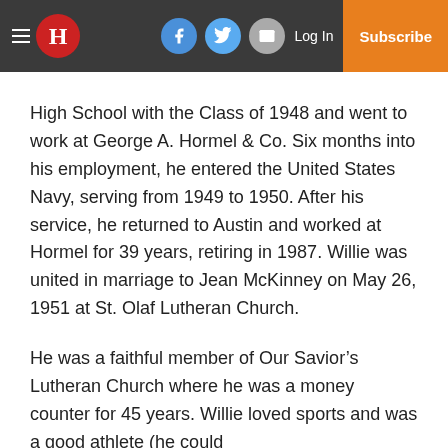H | Log In | Subscribe
High School with the Class of 1948 and went to work at George A. Hormel & Co. Six months into his employment, he entered the United States Navy, serving from 1949 to 1950. After his service, he returned to Austin and worked at Hormel for 39 years, retiring in 1987. Willie was united in marriage to Jean McKinney on May 26, 1951 at St. Olaf Lutheran Church.
He was a faithful member of Our Savior’s Lutheran Church where he was a money counter for 45 years. Willie loved sports and was a good athlete (he could